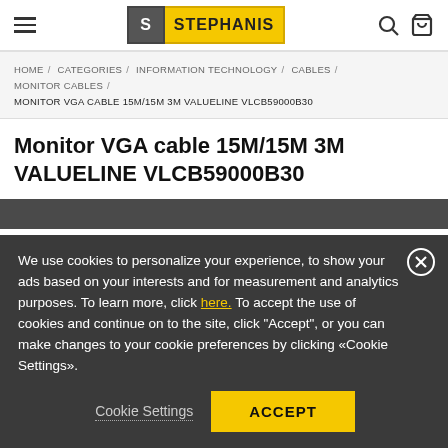STEPHANIS
HOME / CATEGORIES / INFORMATION TECHNOLOGY / CABLES / MONITOR CABLES / MONITOR VGA CABLE 15M/15M 3M VALUELINE VLCB59000B30
Monitor VGA cable 15M/15M 3M VALUELINE VLCB59000B30
We use cookies to personalize your experience, to show your ads based on your interests and for measurement and analytics purposes. To learn more, click here. To accept the use of cookies and continue on to the site, click "Accept", or you can make changes to your cookie preferences by clicking «Cookie Settings».